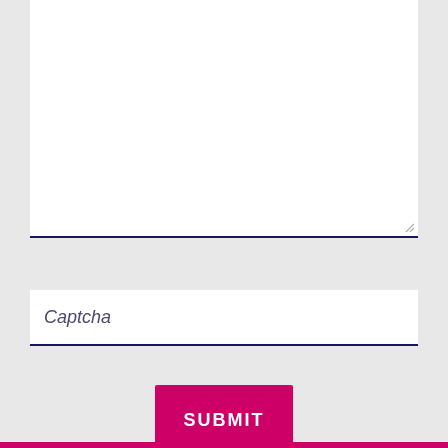[Figure (screenshot): Large white textarea input field with a dark navy bottom border and resize handle in the bottom-right corner]
Captcha
SUBMIT
[Figure (other): Pink/magenta bottom bar strip at the bottom of the page]